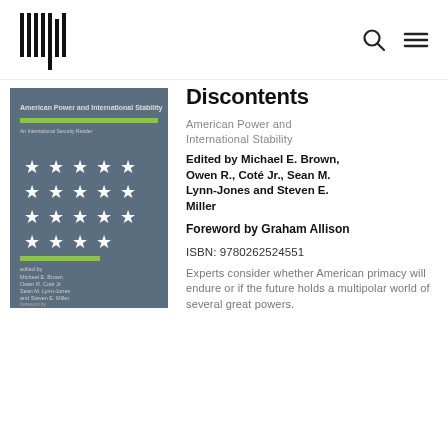[Figure (logo): MIT Press barcode-style logo in top left nav bar]
[Figure (illustration): Book cover of 'American Power and International Stability' showing white stars on blue-gray background with green accent bars, edited by Michael E. Brown, Owen R. Coté Jr., Sean M. Lynn-Jones and Steven E. Miller, foreword by Graham Allison]
Discontents
American Power and International Stability
Edited by Michael E. Brown, Owen R., Coté Jr., Sean M. Lynn-Jones and Steven E. Miller
Foreword by Graham Allison
ISBN: 9780262524551
Experts consider whether American primacy will endure or if the future holds a multipolar world of several great powers.